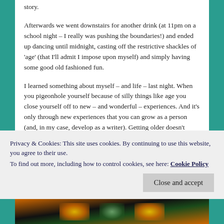story.
Afterwards we went downstairs for another drink (at 11pm on a school night – I really was pushing the boundaries!) and ended up dancing until midnight, casting off the restrictive shackles of 'age' (that I'll admit I impose upon myself) and simply having some good old fashioned fun.
I learned something about myself – and life – last night. When you pigeonhole yourself because of silly things like age you close yourself off to new – and wonderful – experiences. And it's only through new experiences that you can grow as a person (and, in my case, develop as a writer). Getting older doesn't make us old, telling
Privacy & Cookies: This site uses cookies. By continuing to use this website, you agree to their use.
To find out more, including how to control cookies, see here: Cookie Policy
Close and accept
[Figure (photo): Bottom strip showing partial photo images with warm orange and green tones, partially visible at bottom of page]